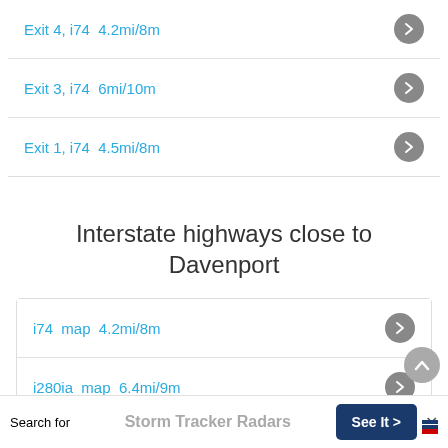Exit 4, i74  4.2mi/8m
Exit 3, i74  6mi/10m
Exit 1, i74  4.5mi/8m
Interstate highways close to Davenport
i74  map  4.2mi/8m
i280ia  map  6.4mi/9m
i80  map  6mi/10m
Search for  Storm Tracker Radars  See It >  ×